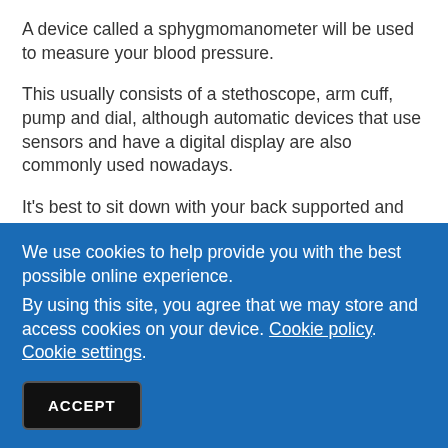A device called a sphygmomanometer will be used to measure your blood pressure.
This usually consists of a stethoscope, arm cuff, pump and dial, although automatic devices that use sensors and have a digital display are also commonly used nowadays.
It's best to sit down with your back supported and legs uncrossed for the test. You'll usually need to roll up your sleeves or remove any long-sleeved clothing, so the cuff can be placed around your upper arm. Try to relax and avoid
We use cookies to help provide you with the best possible online experience.
By using this site, you agree that we may store and access cookies on your device. Cookie policy. Cookie settings.
ACCEPT